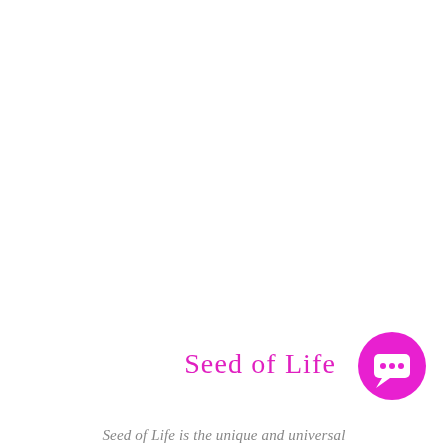Seed of Life
Seed of Life is the unique and universal
[Figure (illustration): Magenta/pink circular chat bubble icon button in bottom-right corner]